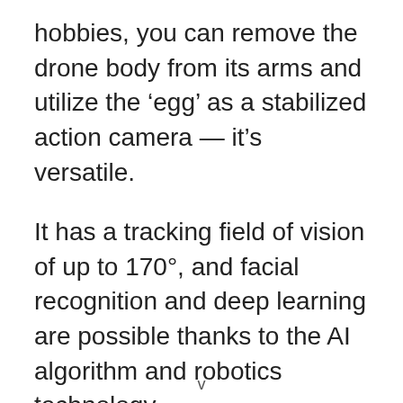hobbies, you can remove the drone body from its arms and utilize the ‘egg’ as a stabilized action camera — it’s versatile.
It has a tracking field of vision of up to 170°, and facial recognition and deep learning are possible thanks to the AI algorithm and robotics technology.
Another benefit of SyncVoice technology is that it allows users to narrate in real time utilizing their phone’s microphone or
v